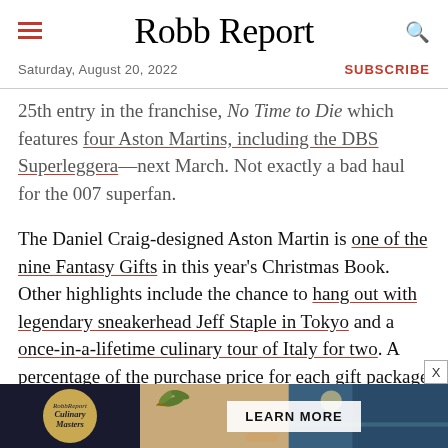Robb Report
Saturday, August 20, 2022
SUBSCRIBE
25th entry in the franchise, No Time to Die which features four Aston Martins, including the DBS Superleggera—next March. Not exactly a bad haul for the 007 superfan.
The Daniel Craig-designed Aston Martin is one of the nine Fantasy Gifts in this year's Christmas Book. Other highlights include the chance to hang out with legendary sneakerhead Jeff Staple in Tokyo and a once-in-a-lifetime culinary tour of Italy for two. A percentage of the purchase price for each gift package (12-percent
[Figure (advertisement): Robb Report Culinary Masters advertisement banner with logo and LEARN MORE button]